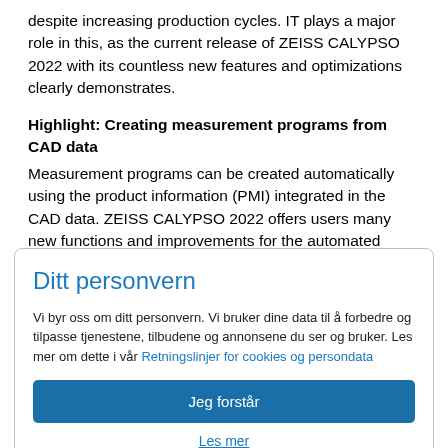despite increasing production cycles. IT plays a major role in this, as the current release of ZEISS CALYPSO 2022 with its countless new features and optimizations clearly demonstrates.
Highlight: Creating measurement programs from CAD data
Measurement programs can be created automatically using the product information (PMI) integrated in the CAD data. ZEISS CALYPSO 2022 offers users many new functions and improvements for the automated creation
Ditt personvern
Vi byr oss om ditt personvern. Vi bruker dine data til å forbedre og tilpasse tjenestene, tilbudene og annonsene du ser og bruker. Les mer om dette i vår Retningslinjer for cookies og persondata
Jeg forstår
Les mer